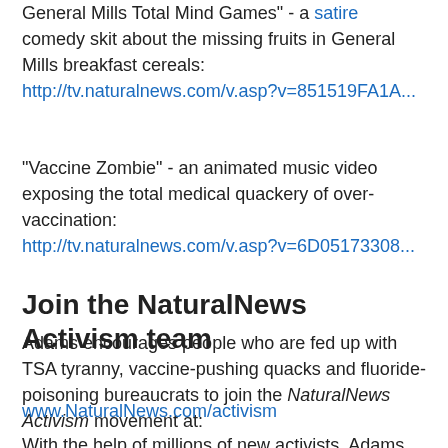General Mills Total Mind Games" - a satire comedy skit about the missing fruits in General Mills breakfast cereals: http://tv.naturalnews.com/v.asp?v=851519FA1A...
"Vaccine Zombie" - an animated music video exposing the total medical quackery of over-vaccination: http://tv.naturalnews.com/v.asp?v=6D05173308...
Join the NaturalNews Activism team
Adams encourages people who are fed up with TSA tyranny, vaccine-pushing quacks and fluoride-poisoning bureaucrats to join the NaturalNews Activism movement at:
www.NaturalNews.com/activism
With the help of millions of new activists, Adams says he